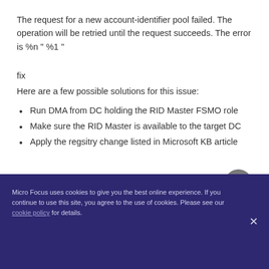The request for a new account-identifier pool failed. The operation will be retried until the request succeeds. The error is %n " %1 "
fix
Here are a few possible solutions for this issue:
Run DMA from DC holding the RID Master FSMO role
Make sure the RID Master is available to the target DC
Apply the regsitry change listed in Microsoft KB article
Micro Focus uses cookies to give you the best online experience. If you continue to use this site, you agree to the use of cookies. Please see our cookie policy for details.